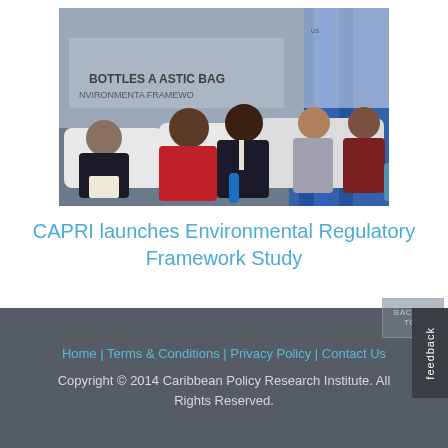[Figure (photo): Panel discussion at a conference. Four panelists seated on white sofas. A banner in the background reads 'BOTTLES AND PLASTIC BAGS ENVIRONMENTAL FRAMEWORK'. Blue curtains visible on the right. A woman in black on the left writing notes, a woman in red in the center, a man in a dark suit, and two people on the right.]
CAPRI launches Environmental Regulatory Framework Study
Home | Terms & Conditions | Privacy Policy | Contact Us
Copyright © 2014 Caribbean Policy Research Institute. All Rights Reserved.